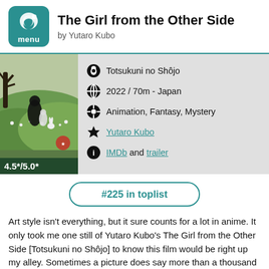The Girl from the Other Side by Yutaro Kubo
[Figure (other): Movie poster for The Girl from the Other Side showing anime artwork with dark figure and white rabbit in green landscape]
Totsukuni no Shôjo
2022 / 70m - Japan
Animation, Fantasy, Mystery
Yutaro Kubo
IMDb and trailer
4.5*/5.0*
#225 in toplist
Art style isn't everything, but it sure counts for a lot in anime. It only took me one still of Yutaro Kubo's The Girl from the Other Side [Totsukuni no Shôjo] to know this film would be right up my alley. Sometimes a picture does say more than a thousand words, and The Girl from the Other Side came with a very clear promise of stylish, mysterious fantasy. The film didn't disappoint in the slightest